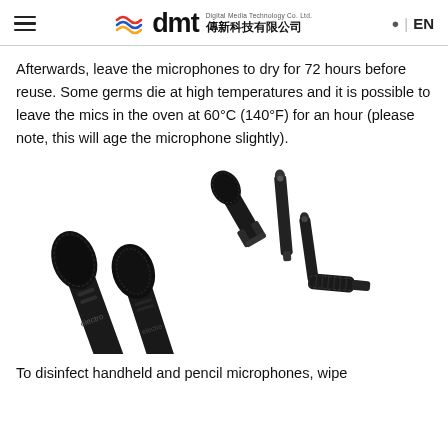DMT Digital Media Technology Co. Ltd. 傳新科技有限公司 | EN
Afterwards, leave the microphones to dry for 72 hours before reuse. Some germs die at high temperatures and it is possible to leave the mics in the oven at 60°C (140°F) for an hour (please note, this will age the microphone slightly).
[Figure (photo): Product photo of multiple microphones: two handheld dynamic microphones and three pencil/condenser microphones arranged on a white background.]
To disinfect handheld and pencil microphones, wipe